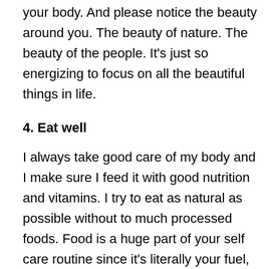your body. And please notice the beauty around you. The beauty of nature. The beauty of the people. It's just so energizing to focus on all the beautiful things in life.
4. Eat well
I always take good care of my body and I make sure I feed it with good nutrition and vitamins. I try to eat as natural as possible without to much processed foods. Food is a huge part of your self care routine since it's literally your fuel, your energy. I always say it's important to educate yourself about what is and what isn't good for your body. Self love is taking good care of your body, feeding it with love. Of course I choose to have a diet without any harm by eating [obscured]. For me this is something that feels really good but I w[obscured]ever force it up on you. Just listen to your body and its needs and educate yourself about healthy food. In winter I think it's nice to